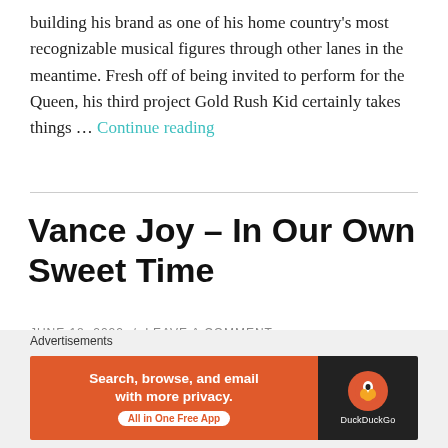building his brand as one of his home country's most recognizable musical figures through other lanes in the meantime. Fresh off of being invited to perform for the Queen, his third project Gold Rush Kid certainly takes things … Continue reading
Vance Joy – In Our Own Sweet Time
JUNE 18, 2022 / LEAVE A COMMENT
[Figure (screenshot): DuckDuckGo advertisement banner: 'Search, browse, and email with more privacy. All in One Free App' with DuckDuckGo logo on dark background.]